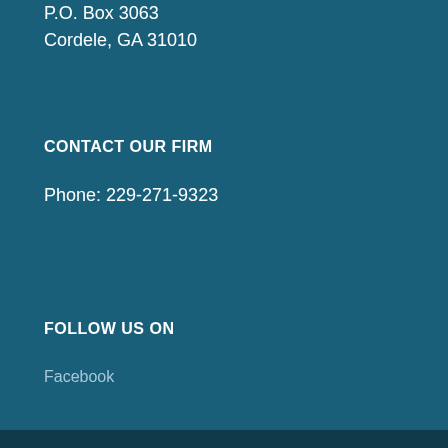P.O. Box 3063
Cordele, GA 31010
CONTACT OUR FIRM
Phone: 229-271-9323
FOLLOW US ON
Facebook